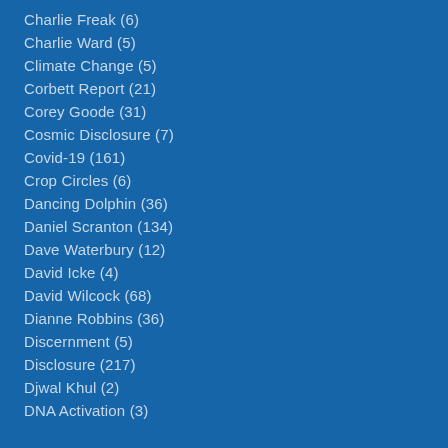Charlie Freak (6)
Charlie Ward (5)
Climate Change (5)
Corbett Report (21)
Corey Goode (31)
Cosmic Disclosure (7)
Covid-19 (161)
Crop Circles (6)
Dancing Dolphin (36)
Daniel Scranton (134)
Dave Waterbury (12)
David Icke (4)
David Wilcock (68)
Dianne Robbins (36)
Discernment (5)
Disclosure (217)
Djwal Khul (2)
DNA Activation (3)